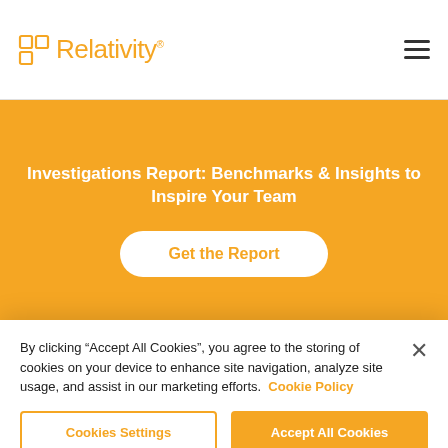Relativity
Investigations Report: Benchmarks & Insights to Inspire Your Team
Get the Report
RelativityOne for Investigations
By clicking “Accept All Cookies”, you agree to the storing of cookies on your device to enhance site navigation, analyze site usage, and assist in our marketing efforts. Cookie Policy
Cookies Settings
Accept All Cookies